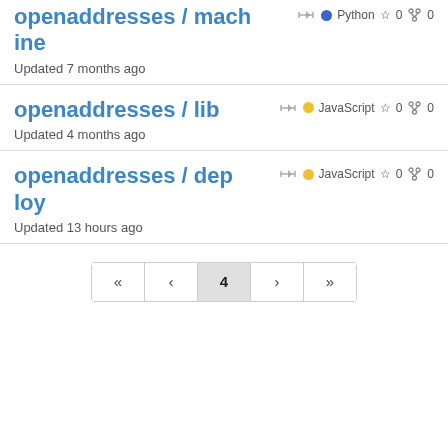openaddresses / machine — Python ☆ 0 ⑂ 0 — Updated 7 months ago
openaddresses / lib — JavaScript ☆ 0 ⑂ 0 — Updated 4 months ago
openaddresses / deploy — JavaScript ☆ 0 ⑂ 0 — Updated 13 hours ago
Pagination: « < 4 > »